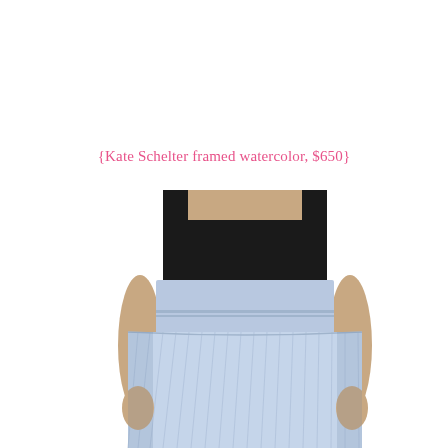{Kate Schelter framed watercolor, $650}
[Figure (photo): A person wearing a black top and a light blue/white striped tiered maxi skirt with a wide waistband. Only the torso and hands are visible against a white background.]